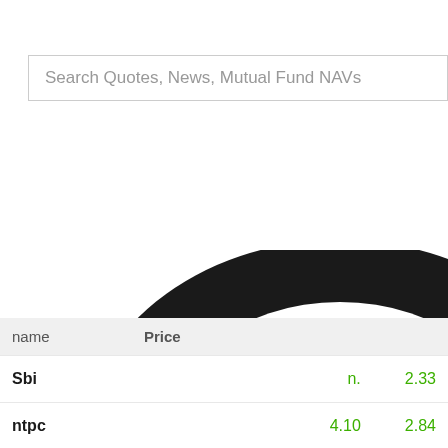Search Quotes, News, Mutual Fund NAVs
[Figure (other): Large black curved shape/graphic element overlapping the lower portion of the page, resembling a donut or pie chart segment arc in black color]
| name | Price |  |  |
| --- | --- | --- | --- |
| Sbi |  | n. | 2.33 |
| ntpc |  | 4.10 | 2.84 |